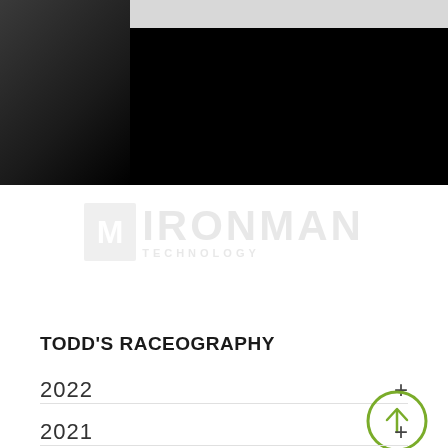[Figure (photo): Dark photo banner at top of page showing a dark background with a lighter grey bar in the upper right area. A silhouette figure is visible on the left side.]
[Figure (logo): Watermark/logo in light grey showing 'M DOT IRONMAN' branding text with subtitle text below, very low opacity watermark]
TODD'S RACEOGRAPHY
2022 +
2021 +
20__ (partial, cut off)